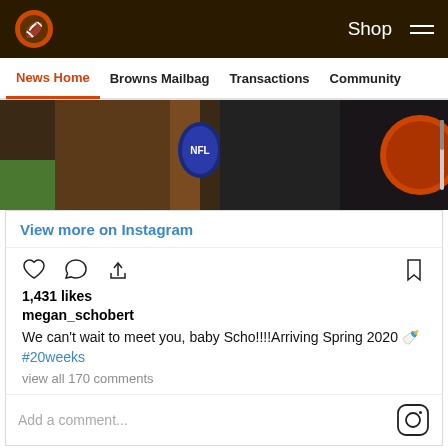Cleveland Browns website header with logo, Shop link, and hamburger menu
News Home | Browns Mailbag | Transactions | Community
[Figure (photo): Partial sports photo showing NFL-branded apparel and a football helmet, cropped]
View more on Instagram
1,431 likes
megan_schobert
We can't wait to meet you, baby Scho!!!!Arriving Spring 2020 🍼#20weeks
view all 170 comments
Add a comment...
[Figure (infographic): Social share buttons: Facebook, Twitter, email, and link icon]